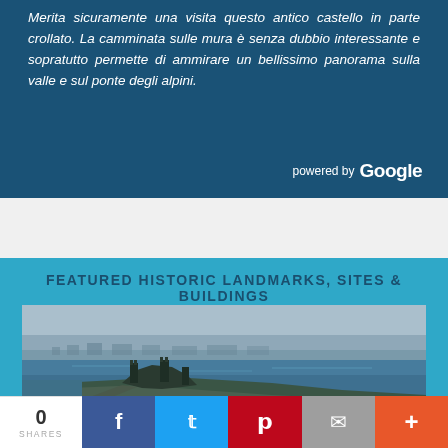Merita sicuramente una visita questo antico castello in parte crollato. La camminata sulle mura è senza dubbio interessante e sopratutto permette di ammirare un bellissimo panorama sulla valle e sul ponte degli alpini.
powered by Google
FEATURED HISTORIC LANDMARKS, SITES & BUILDINGS
[Figure (photo): Aerial photograph of a coastal town with a castle or historic structure in the foreground near the water, with a bay and town stretching into the background under a hazy sky.]
0 SHARES | Facebook | Twitter | Pinterest | Mail | +